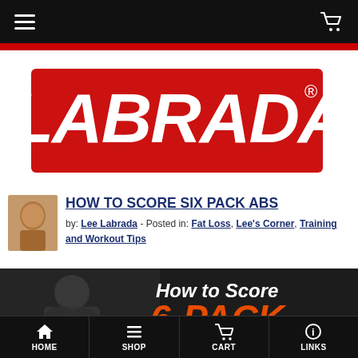Navigation bar with hamburger menu and cart icon
[Figure (logo): LABRADA logo in white italic bold text on red background with registered trademark symbol]
HOW TO SCORE SIX PACK ABS
by: Lee Labrada - Posted in: Fat Loss, Lee's Corner, Training and Workout Tips
[Figure (photo): Banner image showing muscular bodybuilder in black and white with text overlay 'How to Score 6-PACK ABS' in white and orange on dark background]
HOME  SHOP  CART  LINKS